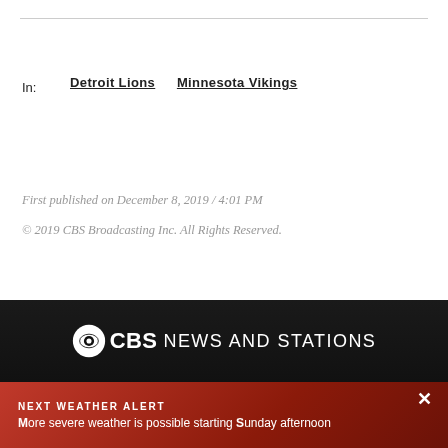In:   Detroit Lions   Minnesota Vikings
First published on December 8, 2019 / 4:01 PM
© 2019 CBS Broadcasting Inc. All Rights Reserved.
CBS NEWS AND STATIONS
NEXT WEATHER ALERT
More severe weather is possible starting Sunday afternoon